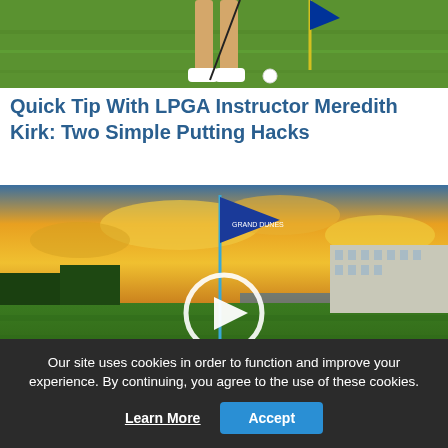[Figure (photo): Photo of golfer's legs and feet on green grass, mid-swing or address position, wearing white shoes; golf ball and flag visible in background]
Quick Tip With LPGA Instructor Meredith Kirk: Two Simple Putting Hacks
[Figure (photo): Video thumbnail of a golf course at sunset/dusk with a blue flag on a hole, dramatic orange and yellow sky, resort buildings in background, with a white play button overlay in the center]
Our site uses cookies in order to function and improve your experience. By continuing, you agree to the use of these cookies.
Learn More  Accept